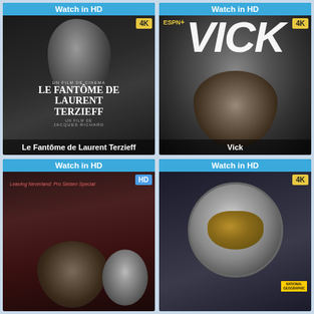Watch in HD
[Figure (photo): Movie poster for Le Fantôme de Laurent Terzieff - black and white portrait of a man with text overlay, 4K badge]
Le Fantôme de Laurent Terzieff
Watch in HD
[Figure (photo): Movie poster for Vick - ESPN+ documentary, black and white portrait looking up with large VICK text, 4K badge]
Vick
Watch in HD
[Figure (photo): Movie poster for Leaving Neverland: Pro Sieben Special - dark reddish photo of two figures, HD badge]
Watch in HD
[Figure (photo): Movie poster with astronaut in spacesuit with golden visor, National Geographic branding, 4K badge]